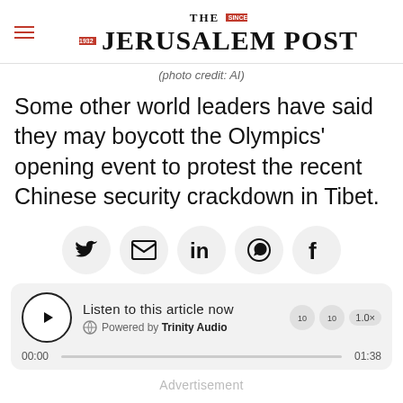THE JERUSALEM POST
(photo credit: AI)
Some other world leaders have said they may boycott the Olympics' opening event to protest the recent Chinese security crackdown in Tibet.
[Figure (other): Social sharing buttons: Twitter, Email, LinkedIn, WhatsApp, Facebook]
[Figure (other): Audio player: Listen to this article now. Powered by Trinity Audio. Duration 01:38.]
Advertisement